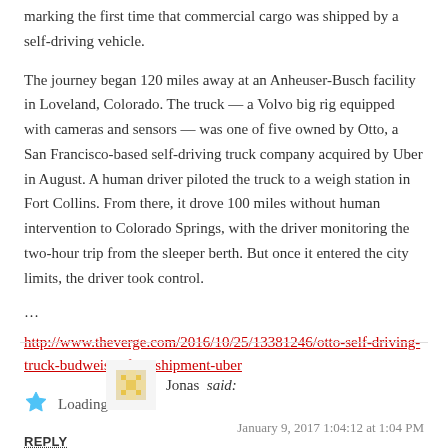marking the first time that commercial cargo was shipped by a self-driving vehicle.
The journey began 120 miles away at an Anheuser-Busch facility in Loveland, Colorado. The truck — a Volvo big rig equipped with cameras and sensors — was one of five owned by Otto, a San Francisco-based self-driving truck company acquired by Uber in August. A human driver piloted the truck to a weigh station in Fort Collins. From there, it drove 100 miles without human intervention to Colorado Springs, with the driver monitoring the two-hour trip from the sleeper berth. But once it entered the city limits, the driver took control.
…
http://www.theverge.com/2016/10/25/13381246/otto-self-driving-truck-budweiser-first-shipment-uber
Loading...
REPLY
Jonas said:
January 9, 2017 1:04:12 at 1:04 PM